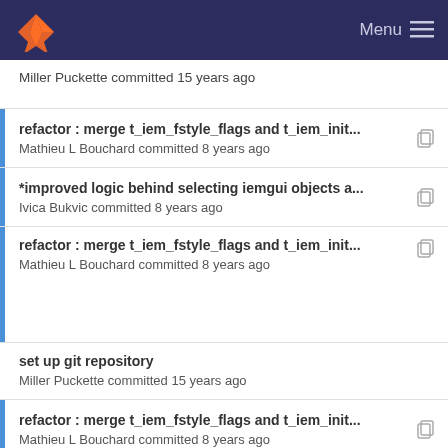Menu
Miller Puckette committed 15 years ago
refactor : merge t_iem_fstyle_flags and t_iem_init...
Mathieu L Bouchard committed 8 years ago
*improved logic behind selecting iemgui objects a...
Ivica Bukvic committed 8 years ago
refactor : merge t_iem_fstyle_flags and t_iem_init...
Mathieu L Bouchard committed 8 years ago
set up git repository
Miller Puckette committed 15 years ago
refactor : merge t_iem_fstyle_flags and t_iem_init...
Mathieu L Bouchard committed 8 years ago
set up git repository